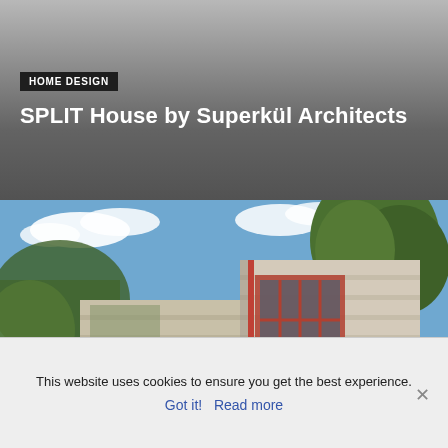HOME DESIGN
SPLIT House by Superkül Architects
[Figure (photo): Exterior photograph of a modern two-story concrete house with large red-framed windows and lush green trees in the background]
HOME DESIGN
SMPW Home by LAB606
[Figure (photo): Partial view of an interior or exterior architectural detail with dark triangular ceiling and yellow wall element]
This website uses cookies to ensure you get the best experience.
Got it!   Read more